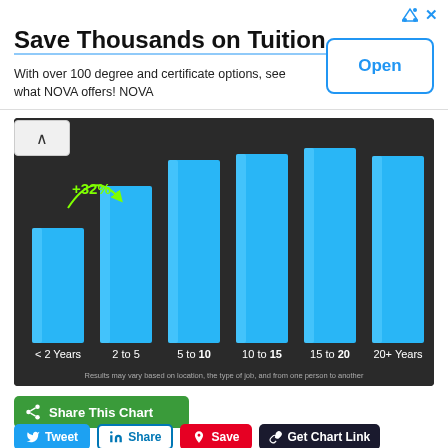[Figure (other): Advertisement banner: 'Save Thousands on Tuition' with subtitle 'With over 100 degree and certificate options, see what NOVA offers! NOVA' and an 'Open' button]
[Figure (bar-chart): Bar chart showing salary increase by years of experience. Bars are cyan/blue, increasing from < 2 Years to ~15-20 Years. A +32% annotation with circular arrow is shown between the first two bars.]
Results may vary based on location, the type of job, and from one person to another.
[Figure (other): Share This Chart green button with share icon]
[Figure (other): Social share buttons: Tweet (Twitter), Share (LinkedIn), Save (Pinterest), Get Chart Link]